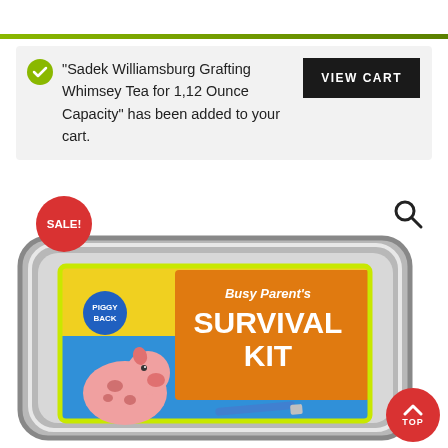“Sadek Williamsburg Grafting Whimsey Tea for 1,12 Ounce Capacity” has been added to your cart.
VIEW CART
[Figure (screenshot): Product image of a metal tin containing Busy Parent's Survival Kit with a piggyback logo and cartoon pig, shown in an e-commerce website context with a SALE! badge and search icon]
SALE!
TOP